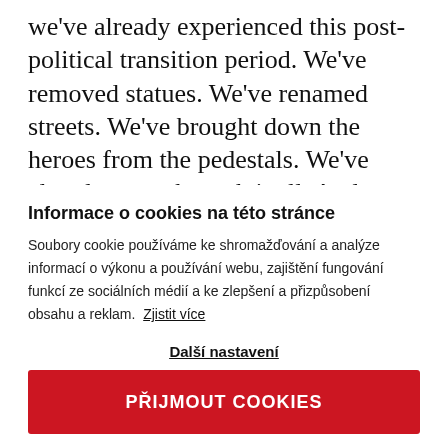we've already experienced this post-political transition period. We've removed statues. We've renamed streets. We've brought down the heroes from the pedestals. We've already gone through it all. And we have been going through this process again and again.
Informace o cookies na této stránce
Soubory cookie používáme ke shromažďování a analýze informací o výkonu a používání webu, zajištění fungování funkcí ze sociálních médií a ke zlepšení a přizpůsobení obsahu a reklam. Zjistit více
Další nastavení
PŘIJMOUT COOKIES